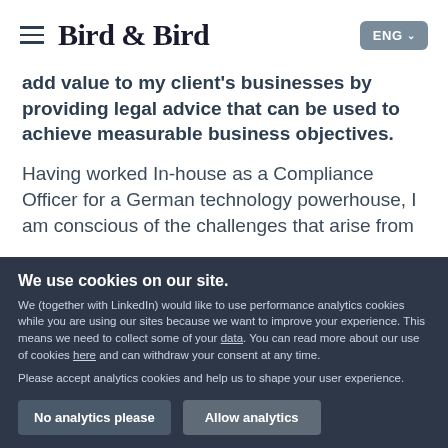Bird & Bird | ENG
add value to my client's businesses by providing legal advice that can be used to achieve measurable business objectives.
Having worked In-house as a Compliance Officer for a German technology powerhouse, I am conscious of the challenges that arise from
We use cookies on our site.
We (together with LinkedIn) would like to use performance analytics cookies while you are using our sites because we want to improve your experience. This means we need to collect some of your data. You can read more about our use of cookies here and can withdraw your consent at any time.
Please accept analytics cookies and help us to shape your user experience.
No analytics please
Allow analytics